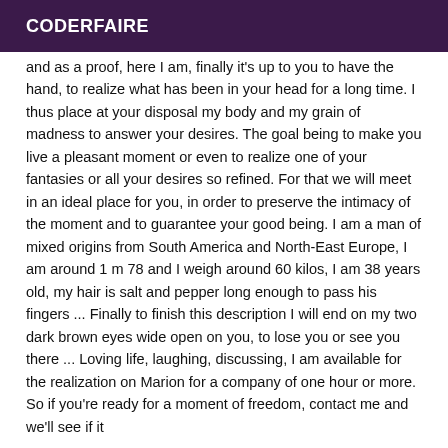CODERFAIRE
and as a proof, here I am, finally it's up to you to have the hand, to realize what has been in your head for a long time. I thus place at your disposal my body and my grain of madness to answer your desires. The goal being to make you live a pleasant moment or even to realize one of your fantasies or all your desires so refined. For that we will meet in an ideal place for you, in order to preserve the intimacy of the moment and to guarantee your good being. I am a man of mixed origins from South America and North-East Europe, I am around 1 m 78 and I weigh around 60 kilos, I am 38 years old, my hair is salt and pepper long enough to pass his fingers ... Finally to finish this description I will end on my two dark brown eyes wide open on you, to lose you or see you there ... Loving life, laughing, discussing, I am available for the realization on Marion for a company of one hour or more. So if you're ready for a moment of freedom, contact me and we'll see if it